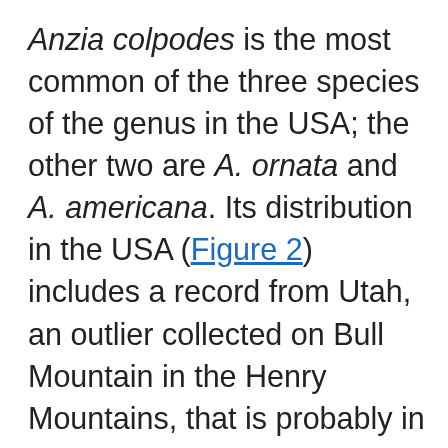Anzia colpodes is the most common of the three species of the genus in the USA; the other two are A. ornata and A. americana. Its distribution in the USA (Figure 2) includes a record from Utah, an outlier collected on Bull Mountain in the Henry Mountains, that is probably in error and cannot be verified as the specimen and location details are missing from the Arizona State University Herbarium. A. colpodes is reported to have become increasingly rare. In Maine, it is now restricted to five old-growth forests (Hinds and Hinds 2007). It is probably extirpated